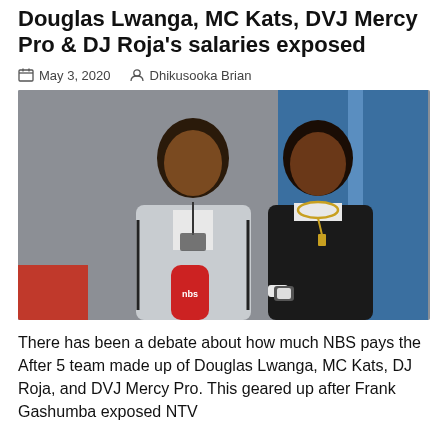Douglas Lwanga, MC Kats, DVJ Mercy Pro & DJ Roja's salaries exposed
May 3, 2020   Dhikusooka Brian
[Figure (photo): Two young men posing together indoors; the one on the left wears a grey athletic jacket and holds a red NBS microphone, the one on the right wears a black polo shirt with a gold chain necklace and a watch.]
There has been a debate about how much NBS pays the After 5 team made up of Douglas Lwanga, MC Kats, DJ Roja, and DVJ Mercy Pro. This geared up after Frank Gashumba exposed NTV